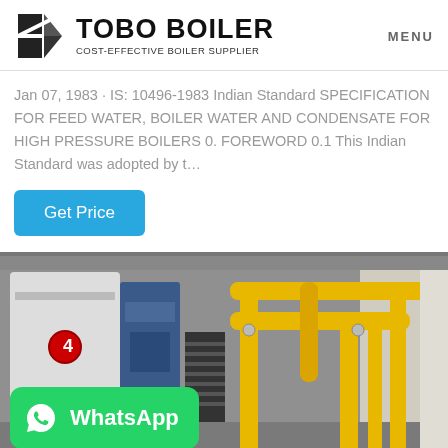TOBO BOILER – COST-EFFECTIVE BOILER SUPPLIER | MENU
Jan 07, 1983 · IS: 10496-1983 Indian Standard SPECIFICATION FOR FEED WATER, BOILER WATER AND CONDENSATE FOR HIGH PRESSURE BOILERS 0. FOREWORD 0.1 This Indian Standard was adopted by t…
Get Price
[Figure (photo): Industrial boiler room with yellow pipes and machinery; WhatsApp contact badge overlay in green]